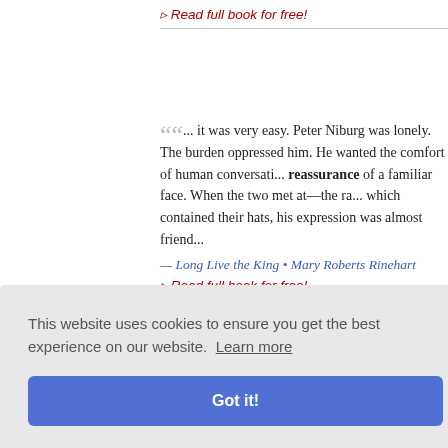▸ Read full book for free!
"... it was very easy. Peter Niburg was lonely. The burden oppressed him. He wanted the comfort of human conversation, reassurance of a familiar face. When the two met at—the railway—which contained their hats, his expression was almost friend...
— Long Live the King • Mary Roberts Rinehart
▸ Read full book for free!
"... fears, doubts unheeding, While I can be near you, holding right into your eyes, and reading Reassurance that you und...
— Legends and Lyrics: Second Series • Adelaide Anne Prod...
This website uses cookies to ensure you get the best experience on our website. Learn more
Got it!
...ce, his full ...ks someth... is blood a...
— The Everlasting Whisper • Jackson Gregory